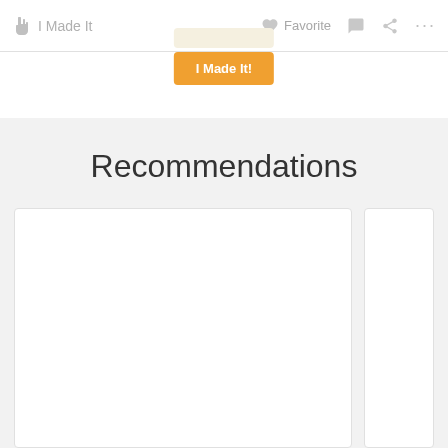I Made It
Favorite
[Figure (screenshot): Orange 'I Made It!' button with tooltip/popup appearing from the top navigation bar]
Recommendations
[Figure (screenshot): Two white recommendation card placeholders on a light gray background, partially visible]